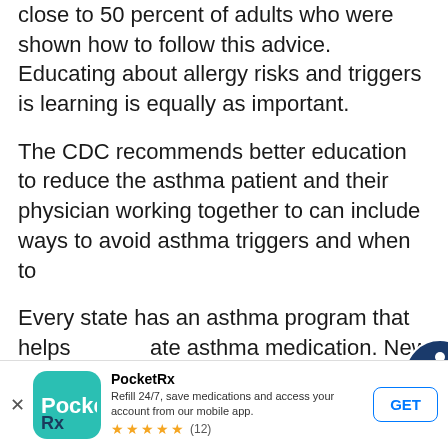close to 50 percent of adults who were shown how to follow this advice. Educating about allergy risks and triggers is important, learning is equally as important.
The CDC recommends better education to reduce the burden of asthma patient and their physician working together to create a plan can include ways to avoid asthma triggers and when to use medication.
Every state has an asthma program that helps educate asthma medication. New York, for example, has asthma adults and regional coalitions that work within the community and quality of life. There are also state programs to help search for asthma programs in your state can not only put money back in your wallet.
[Figure (logo): PocketRx app advertisement banner with teal logo, app name, description, 5-star rating with 12 reviews, and GET button]